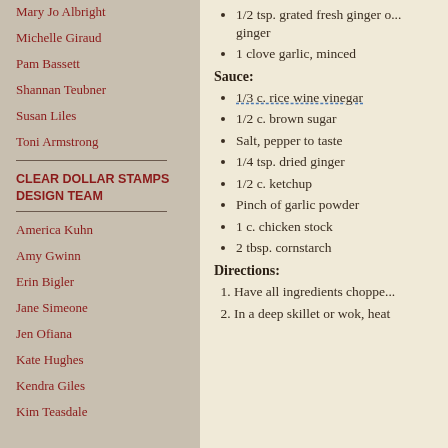Mary Jo Albright
Michelle Giraud
Pam Bassett
Shannan Teubner
Susan Liles
Toni Armstrong
CLEAR DOLLAR STAMPS DESIGN TEAM
America Kuhn
Amy Gwinn
Erin Bigler
Jane Simeone
Jen Ofiana
Kate Hughes
Kendra Giles
Kim Teasdale
1/2 tsp. grated fresh ginger or dried ginger
1 clove garlic, minced
Sauce:
1/3 c. rice wine vinegar
1/2 c. brown sugar
Salt, pepper to taste
1/4 tsp. dried ginger
1/2 c. ketchup
Pinch of garlic powder
1 c. chicken stock
2 tbsp. cornstarch
Directions:
Have all ingredients chopped
In a deep skillet or wok, heat